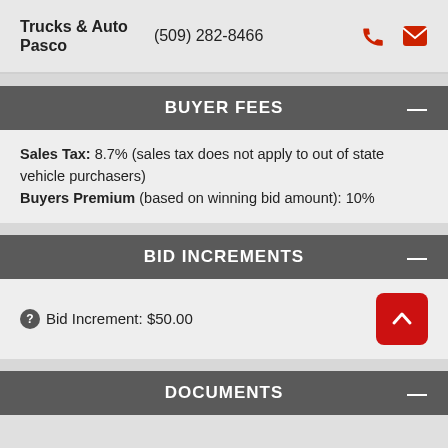Trucks & Auto Pasco  (509) 282-8466
BUYER FEES
Sales Tax: 8.7% (sales tax does not apply to out of state vehicle purchasers)
Buyers Premium (based on winning bid amount): 10%
BID INCREMENTS
Bid Increment: $50.00
DOCUMENTS